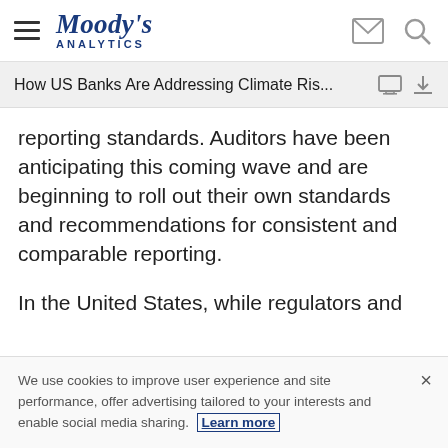Moody's Analytics
How US Banks Are Addressing Climate Ris...
reporting standards. Auditors have been anticipating this coming wave and are beginning to roll out their own standards and recommendations for consistent and comparable reporting.
In the United States, while regulators and
We use cookies to improve user experience and site performance, offer advertising tailored to your interests and enable social media sharing. Learn more